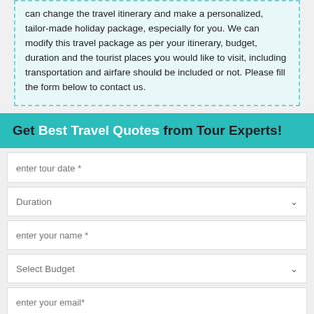can change the travel itinerary and make a personalized, tailor-made holiday package, especially for you. We can modify this travel package as per your itinerary, budget, duration and the tourist places you would like to visit, including transportation and airfare should be included or not. Please fill the form below to contact us.
Get Best Travel Quotes from Tour Experts!
enter tour date *
Duration
enter your name *
Select Budget
enter your email*
No of Persons